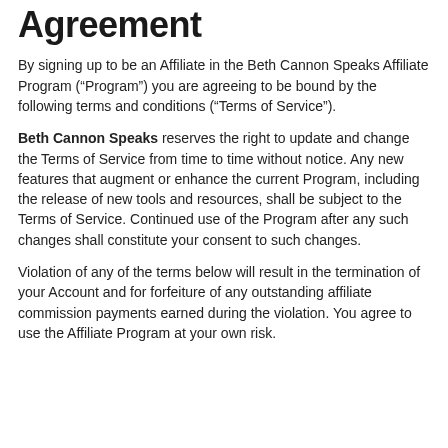Agreement
By signing up to be an Affiliate in the Beth Cannon Speaks Affiliate Program (“Program”) you are agreeing to be bound by the following terms and conditions (“Terms of Service”).
Beth Cannon Speaks reserves the right to update and change the Terms of Service from time to time without notice. Any new features that augment or enhance the current Program, including the release of new tools and resources, shall be subject to the Terms of Service. Continued use of the Program after any such changes shall constitute your consent to such changes.
Violation of any of the terms below will result in the termination of your Account and for forfeiture of any outstanding affiliate commission payments earned during the violation. You agree to use the Affiliate Program at your own risk.